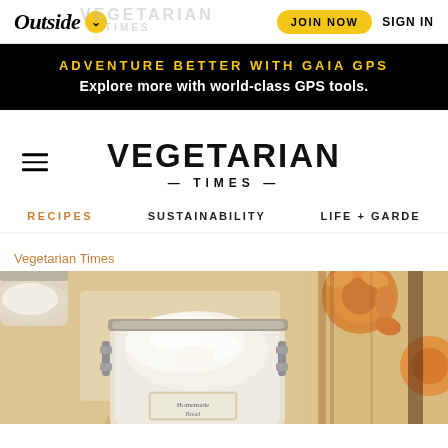Outside ∨ | JOIN NOW | SIGN IN
[Figure (infographic): Black promotional banner for Gaia GPS with yellow heading 'ADVENTURE BETTER WITH GAIA GPS' and white subheading 'Explore more with world-class GPS tools.']
VEGETARIAN TIMES
RECIPES | SUSTAINABILITY | LIFE + GARDE
Vegetarian Times
[Figure (photo): Close-up overhead photo of an open glass jar with a swing-top lid containing white cream or spread, placed on a light wooden surface. A second jar is partially visible at the top left. Floral fabric with orange and brown flowers is visible at the right edge.]